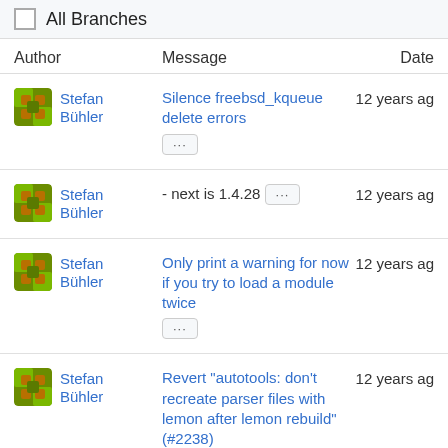All Branches
| Author | Message | Date |
| --- | --- | --- |
| Stefan Bühler | Silence freebsd_kqueue delete errors | 12 years ago |
| Stefan Bühler | - next is 1.4.28 | 12 years ago |
| Stefan Bühler | Only print a warning for now if you try to load a module twice | 12 years ago |
| Stefan Bühler | Revert "autotools: don't recreate parser files with lemon after lemon rebuild" (#2238) | 12 years ago |